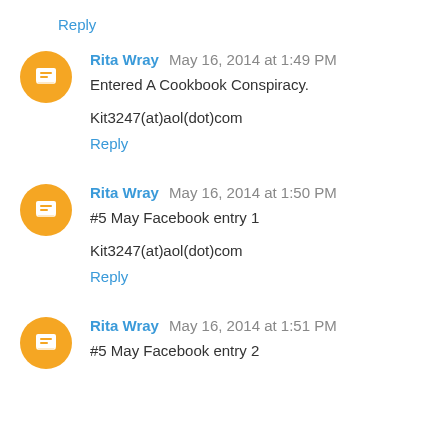Reply
Rita Wray  May 16, 2014 at 1:49 PM
Entered A Cookbook Conspiracy.
Kit3247(at)aol(dot)com
Reply
Rita Wray  May 16, 2014 at 1:50 PM
#5 May Facebook entry 1
Kit3247(at)aol(dot)com
Reply
Rita Wray  May 16, 2014 at 1:51 PM
#5 May Facebook entry 2